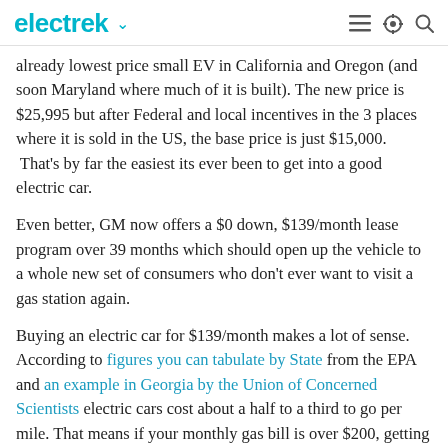electrek
already lowest price small EV in California and Oregon (and soon Maryland where much of it is built). The new price is $25,995 but after Federal and local incentives in the 3 places where it is sold in the US, the base price is just $15,000. That's by far the easiest its ever been to get into a good electric car.
Even better, GM now offers a $0 down, $139/month lease program over 39 months which should open up the vehicle to a whole new set of consumers who don't ever want to visit a gas station again.
Buying an electric car for $139/month makes a lot of sense. According to figures you can tabulate by State from the EPA and an example in Georgia by the Union of Concerned Scientists electric cars cost about a half to a third to go per mile. That means if your monthly gas bill is over $200, getting the electric car is almost free. Throw in some free charging at many workplaces, note that the Spark EV